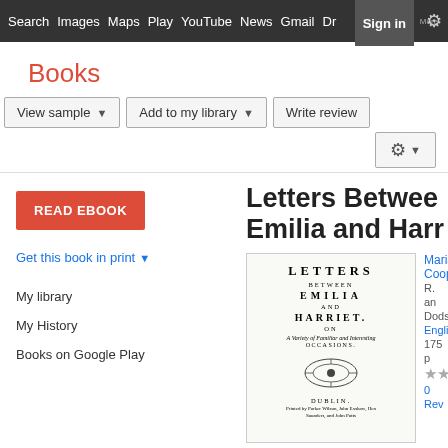Search  Images  Maps  Play  YouTube  News  Gmail  Drive  More  Sign in
Books
View sample  |  Add to my library  |  Write review
READ EBOOK
Get this book in print ▼
My library
My History
Books on Google Play
Letters Between Emilia and Harriet
[Figure (illustration): Title page of the book 'Letters Between Emilia and Harriet' showing LETTERS BETWEEN EMILIA AND HARRIET ON A VARIETY of Familiar and Interesting OCCASIONS, published in DUBLIN]
Maria Cooper
R. and J. Dodsley
English
175 pages
0 Reviews